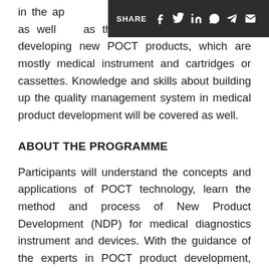in the ap...gnostics, as well as the practical methods about developing new POCT products, which are mostly medical instrument and cartridges or cassettes. Knowledge and skills about building up the quality management system in medical product development will be covered as well.
ABOUT THE PROGRAMME
Participants will understand the concepts and applications of POCT technology, learn the method and process of New Product Development (NDP) for medical diagnostics instrument and devices. With the guidance of the experts in POCT product development, participants will get hands-on experience in design and prototyping of biosensors,